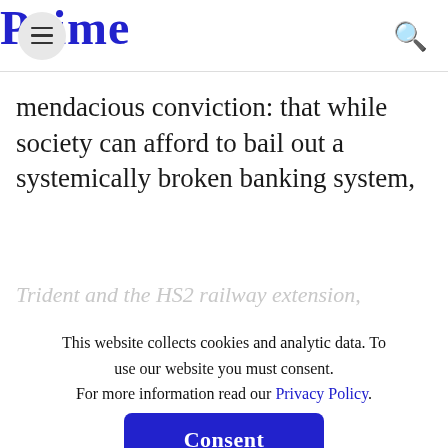Prime
mendacious conviction: that while society can afford to bail out a systemically broken banking system,
Trident and the HS2 railway extension,
This website collects cookies and analytic data. To use our website you must consent. For more information read our Privacy Policy.
higher education volumes and apprenticeships, an expansion of broadband and the arts.
Consent
Decline
The “there is no money” mantra suggests that governments and their central banks do not have the powers to address